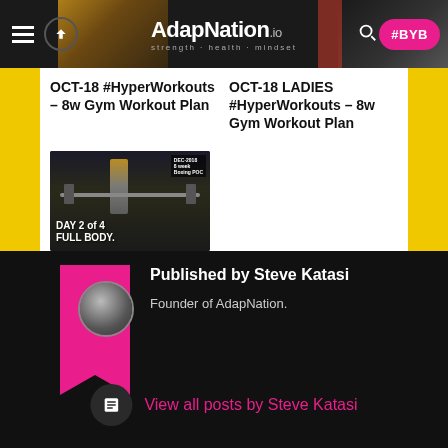AdapNation.io #BYB
OCT-18 #HyperWorkouts – 8w Gym Workout Plan
OCT-18 LADIES #HyperWorkouts – 8w Gym Workout Plan
[Figure (photo): Woman in gym standing near barbell, with text overlay DAY 2 of 4 FULL BODY, DEC-2018 label visible]
DEC-18 LADIES #HyperWorkouts – Day 2/4 – FULL
Published by Steve Katasi
Founder of AdapNation.
View all posts by Steve Katasi